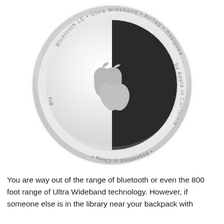[Figure (photo): Apple AirTag device shown from the top. It is a circular disc with a white/silver rim and a face that is half silver/white (top-left) and half dark/black (bottom-right). The Apple logo is centered on the face. Around the rim text reads: 'Bluetooth LE • Ultra Wideband • AirTag • Designed by Apple in California • Assembled in China •' — the bottom portion text appears upside-down as the dark half faces down.]
You are way out of the range of bluetooth or even the 800 foot range of Ultra Wideband technology. However, if someone else is in the library near your backpack with